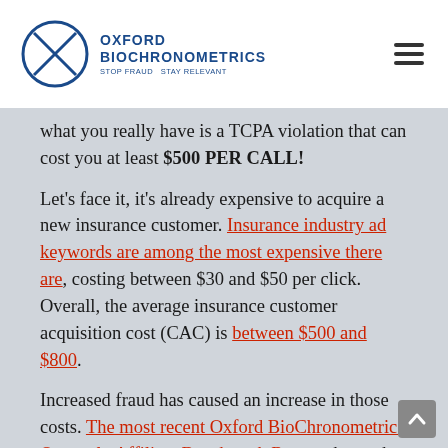Oxford BioChronometrics — Stop Fraud Stay Relevant
what you really have is a TCPA violation that can cost you at least $500 PER CALL!
Let's face it, it's already expensive to acquire a new insurance customer. Insurance industry ad keywords are among the most expensive there are, costing between $30 and $50 per click. Overall, the average insurance customer acquisition cost (CAC) is between $500 and $800.
Increased fraud has caused an increase in those costs. The most recent Oxford BioChronometrics Quarterly Affiliate Benchmark Report shows that 80% of all affiliates in the industry deliver between 12% and 25% of fraud. And those are the numbers when we take out the best and worst